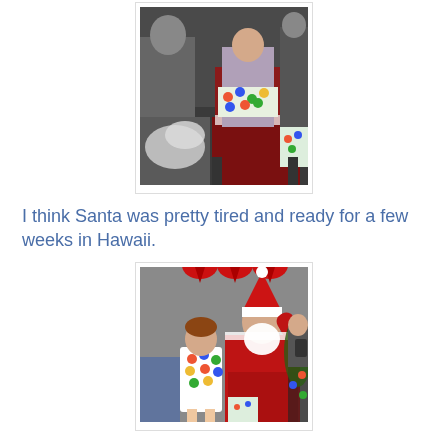[Figure (photo): A child sitting on Santa's lap holding a colorful wrapped present. Other people visible in the background.]
I think Santa was pretty tired and ready for a few weeks in Hawaii.
[Figure (photo): A young girl standing next to Santa Claus who is seated. Santa is raising one arm. Christmas decorations visible in background. Another person taking a photo on a phone.]